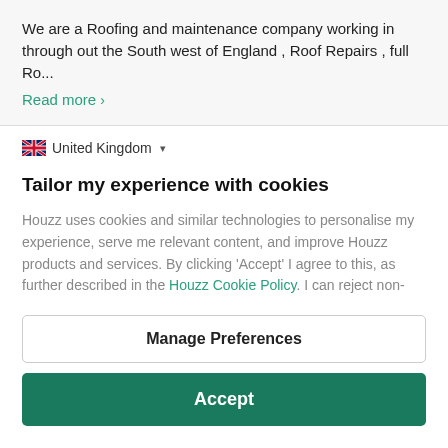We are a Roofing and maintenance company working in through out the South west of England , Roof Repairs , full Ro...
Read more >
🇬🇧 United Kingdom ▾
Tailor my experience with cookies
Houzz uses cookies and similar technologies to personalise my experience, serve me relevant content, and improve Houzz products and services. By clicking 'Accept' I agree to this, as further described in the Houzz Cookie Policy. I can reject non-
Manage Preferences
Accept